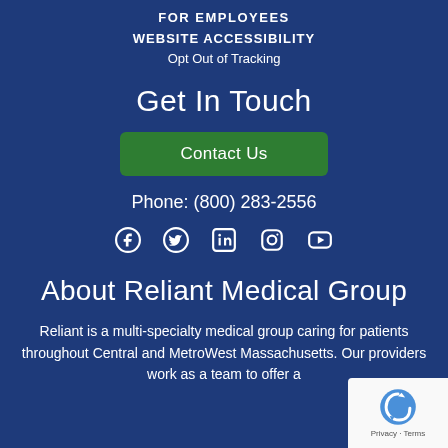FOR EMPLOYEES
WEBSITE ACCESSIBILITY
Opt Out of Tracking
Get In Touch
Contact Us
Phone: (800) 283-2556
[Figure (other): Social media icons: Facebook, Twitter, LinkedIn, Instagram, YouTube]
About Reliant Medical Group
Reliant is a multi-specialty medical group caring for patients throughout Central and MetroWest Massachusetts. Our providers work as a team to offer a